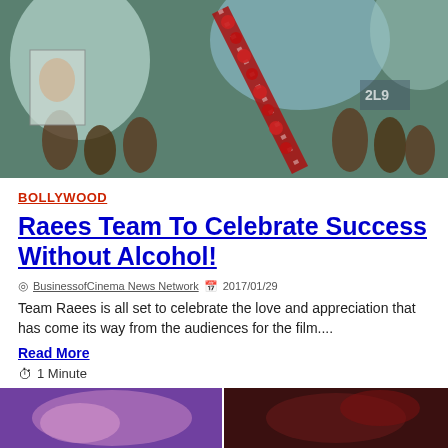[Figure (photo): Hero image showing crowd of people raising hands, holding photos/posters with flower garlands (red roses), in a celebration or rally scene with teal/blue tones]
BOLLYWOOD
Raees Team To Celebrate Success Without Alcohol!
BusinessofCinema News Network  2017/01/29
Team Raees is all set to celebrate the love and appreciation that has come its way from the audiences for the film....
Read More
1 Minute
[Figure (photo): Two thumbnail images side by side at the bottom of the page — left shows a purple/pink toned scene, right shows a dark red/maroon toned scene]